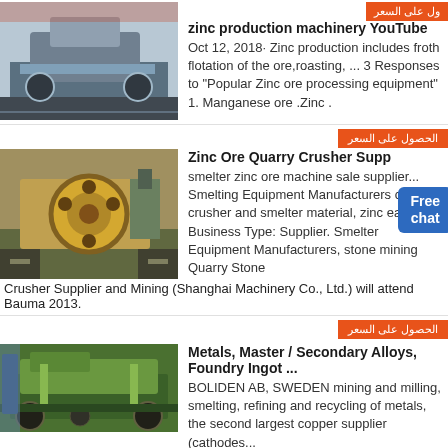[Figure (photo): Industrial machine (crusher/mill) in a factory/warehouse setting]
[Figure (other): Orange Arabic badge: get price]
zinc production machinery YouTube
Oct 12, 2018· Zinc production includes froth flotation of the ore,roasting, ... 3 Responses to "Popular Zinc ore processing equipment" 1. Manganese ore .Zinc .
[Figure (other): Orange Arabic badge: get price]
[Figure (photo): Jaw crusher machine on construction site]
[Figure (other): Blue Free chat badge]
Zinc Ore Quarry Crusher Supp...
smelter zinc ore machine sale supplier... Smelting Equipment Manufacturers chrome crusher and smelter material, zinc eafslag. Business Type: Supplier. Smelter Equipment Manufacturers, stone mining Quarry Stone Crusher Supplier and Mining (Shanghai Machinery Co., Ltd.) will attend Bauma 2013.
[Figure (other): Orange Arabic badge: get price]
[Figure (photo): Green mobile crusher machine outdoors]
Metals, Master / Secondary Alloys, Foundry Ingot ...
BOLIDEN AB, SWEDEN mining and milling, smelting, refining and recycling of metals, the second largest copper supplier (cathodes...